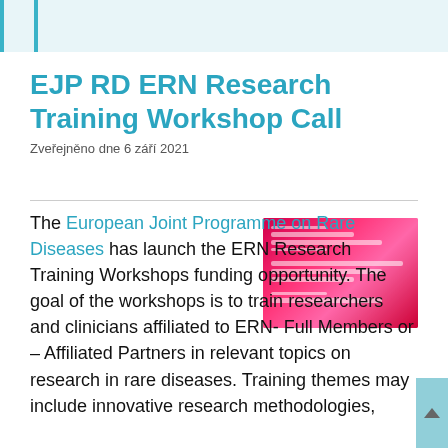EJP RD ERN Research Training Workshop Call
Zveřejněno dne 6 září 2021
The European Joint Programme on Rare Diseases has launch the ERN Research Training Workshops funding opportunity. The goal of the workshops is to train researchers and clinicians affiliated to ERN- Full Members or Affiliated Partners in relevant topics on research in rare diseases. Training themes may include innovative research methodologies,
[Figure (photo): Pink/red themed workshop flyer or poster image thumbnail]